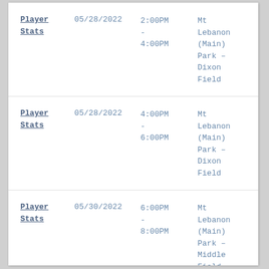|  | Date | Time | Location |
| --- | --- | --- | --- |
| Player Stats | 05/28/2022 | 2:00PM - 4:00PM | Mt Lebanon (Main) Park - Dixon Field |
| Player Stats | 05/28/2022 | 4:00PM - 6:00PM | Mt Lebanon (Main) Park - Dixon Field |
| Player Stats | 05/30/2022 | 6:00PM - 8:00PM | Mt Lebanon (Main) Park - Middle Field |